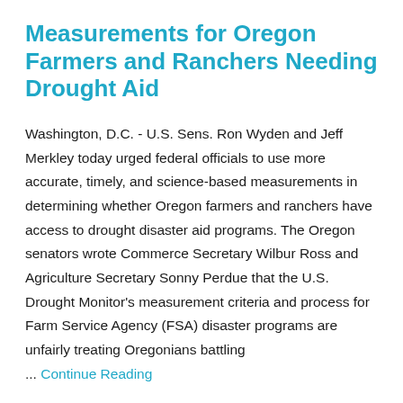Measurements for Oregon Farmers and Ranchers Needing Drought Aid
Washington, D.C. - U.S. Sens. Ron Wyden and Jeff Merkley today urged federal officials to use more accurate, timely, and science-based measurements in determining whether Oregon farmers and ranchers have access to drought disaster aid programs. The Oregon senators wrote Commerce Secretary Wilbur Ross and Agriculture Secretary Sonny Perdue that the U.S. Drought Monitor's measurement criteria and process for Farm Service Agency (FSA) disaster programs are unfairly treating Oregonians battling ... Continue Reading